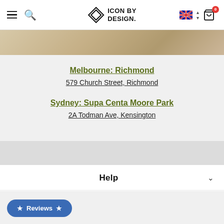Icon By Design — navigation header with hamburger, search, logo, Australian flag, and cart (0)
[Figure (photo): Partial product/lifestyle photo image strip at top of page]
Melbourne: Richmond
579 Church Street, Richmond
Sydney: Supa Centa Moore Park
2A Todman Ave, Kensington
Help
About
Contact
★ Reviews ★